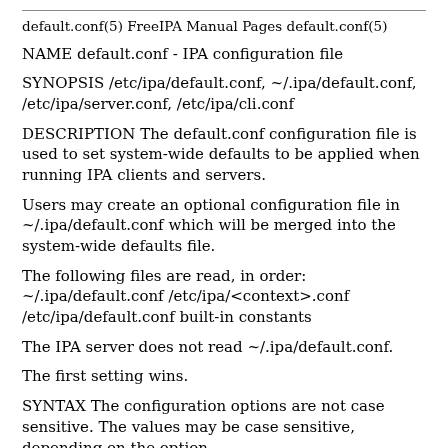default.conf(5) FreeIPA Manual Pages default.conf(5)
NAME default.conf - IPA configuration file
SYNOPSIS /etc/ipa/default.conf, ~/.ipa/default.conf, /etc/ipa/server.conf, /etc/ipa/cli.conf
DESCRIPTION The default.conf configuration file is used to set system-wide defaults to be applied when running IPA clients and servers.
Users may create an optional configuration file in ~/.ipa/default.conf which will be merged into the system-wide defaults file.
The following files are read, in order: ~/.ipa/default.conf /etc/ipa/<context>.conf /etc/ipa/default.conf built-in constants
The IPA server does not read ~/.ipa/default.conf.
The first setting wins.
SYNTAX The configuration options are not case sensitive. The values may be case sensitive, depending on the option.